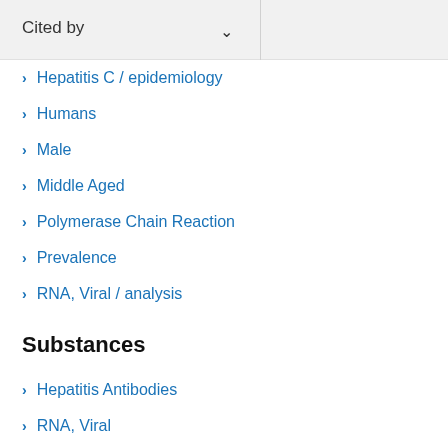Cited by
Hepatitis C / epidemiology
Humans
Male
Middle Aged
Polymerase Chain Reaction
Prevalence
RNA, Viral / analysis
Substances
Hepatitis Antibodies
RNA, Viral
Related information
MedGen